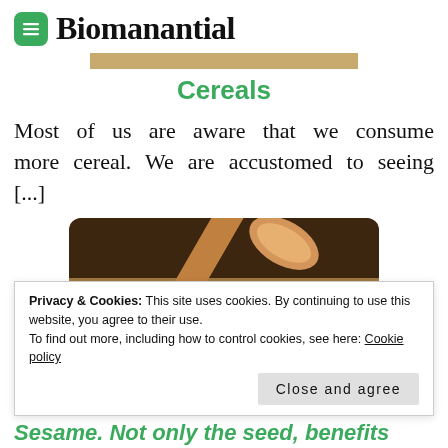Biomanantial
Cereals
Most of us are aware that we consume more cereal. We are accustomed to seeing [...]
[Figure (photo): Close-up photo of cereal grains with a wooden spoon scooping them, in a dark bowl]
Privacy & Cookies: This site uses cookies. By continuing to use this website, you agree to their use.
To find out more, including how to control cookies, see here: Cookie policy
Close and agree
Sesame. Not only the seed, benefits